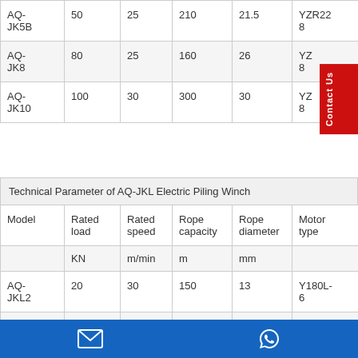| Model | Rated load | Rated speed | Rope capacity | Rope diameter | Motor type |
| --- | --- | --- | --- | --- | --- |
| AQ-JK5B | 50 | 25 | 210 | 21.5 | YZR228 |
| AQ-JK8 | 80 | 25 | 160 | 26 | YZ...8 |
| AQ-JK10 | 100 | 30 | 300 | 30 | YZ...8 |
Technical Parameter of AQ-JKL Electric Piling Winch
| Model | Rated load KN | Rated speed m/min | Rope capacity m | Rope diameter mm | Motor type |
| --- | --- | --- | --- | --- | --- |
| AQ-JKL2 | 20 | 30 | 150 | 13 | Y180L-6 |
| AQ- | 30 | 30 | 200 | 15 | Y2...L- |